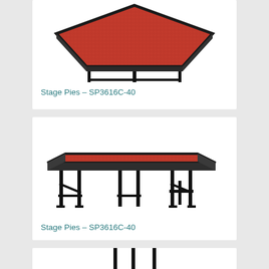[Figure (photo): Stage Pie product photo - hexagonal/pie-shaped stage section with red carpet top and black metal folding legs, viewed from above at an angle, showing the angled shape clearly]
Stage Pies – SP3616C-40
[Figure (photo): Stage Pie product photo - trapezoidal/pie-shaped stage section with red carpet top and black metal folding legs, viewed from the side showing full leg height]
Stage Pies – SP3616C-40
[Figure (photo): Stage Pie product photo - partially visible at bottom of page, showing black metal folding legs]